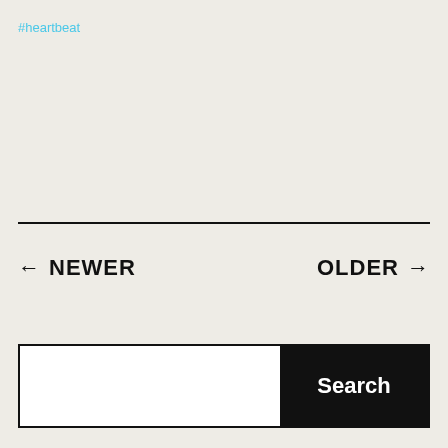#heartbeat
← NEWER
OLDER →
Search